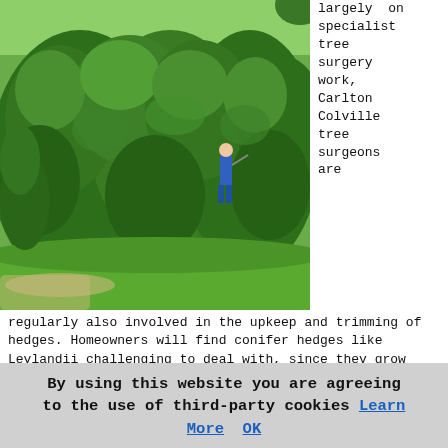[Figure (photo): A person in blue clothing trimming a large green hedge/topiary wall outdoors, seen from a distance]
largely on specialist tree surgery work, Carlton Colville tree surgeons are regularly also involved in the upkeep and trimming of hedges. Homeowners will find conifer hedges like Leylandii challenging to deal with, since they grow tall very rapidly - hence a skilled tree surgeon might be needed.
When poorly maintained or neglected a hedge can pretty quickly get out of control and overgrown. It's recommended that you clip your hedges on a routine basis, and this isn't merely to stop them from overwhelm large areas of your garden, but also to make them stronger and more aesthetically appealing.
If you have plans to sell your property, tidy hedges will help to make your whole garden neater, and may even add to
By using this website you are agreeing to the use of third-party cookies Learn More OK